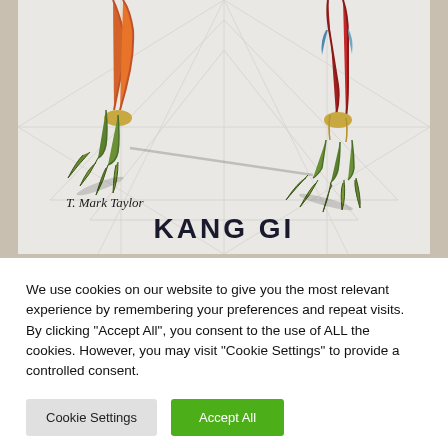[Figure (illustration): A cropped illustration/artwork showing the lower legs and taloned feet of two fantasy creature characters on a light grey decorative background. A handwritten signature 'T. Mark Taylor' is visible, and bold text reads 'KANG GI' at the bottom of the card.]
We use cookies on our website to give you the most relevant experience by remembering your preferences and repeat visits. By clicking "Accept All", you consent to the use of ALL the cookies. However, you may visit "Cookie Settings" to provide a controlled consent.